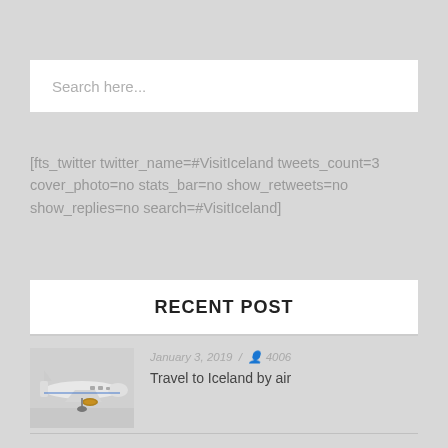Search here...
[fts_twitter twitter_name=#VisitIceland tweets_count=3 cover_photo=no stats_bar=no show_retweets=no show_replies=no search=#VisitIceland]
RECENT POST
[Figure (photo): Thumbnail photo of an Icelandair airplane on a tarmac]
January 3, 2019  /  4006
Travel to Iceland by air